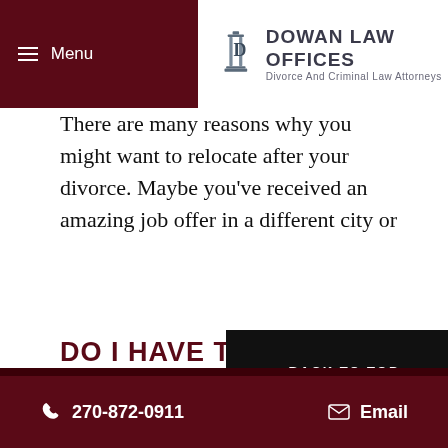Menu | DOWAN LAW OFFICES — Divorce And Criminal Law Attorneys
There are many reasons why you might want to relocate after your divorce. Maybe you've received an amazing job offer in a different city or state, or maybe you've decided to go back to college to finish your degree. Whatever the reason may be, it's important to understand Kentucky law before your move, so you don't run into problems with the court.
DO I HAVE TO NOTIFY THE COURT BEFORE I MOVE?
270-872-0911 | Email